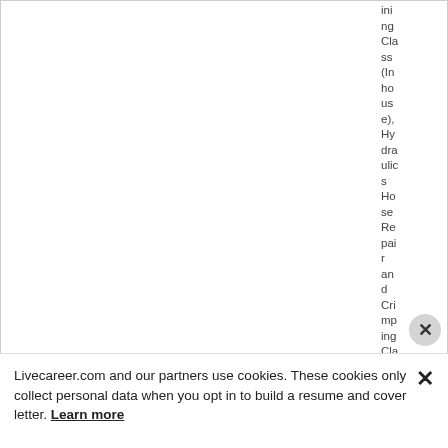ining Class (Inhouse), Hydraulics Hose Repair and Crimping Cla
Livecareer.com and our partners use cookies. These cookies only collect personal data when you opt in to build a resume and cover letter. Learn more